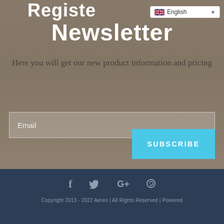[Figure (screenshot): Website newsletter signup page with sushi background image, language selector, form fields, subscribe button, and footer with social icons.]
Register Newsletter
Here you will get our new product information and pricing
Email
SUBSCRIBE
Copyright 2013 - 2022 Aereo | All Rights Reserved | Powered